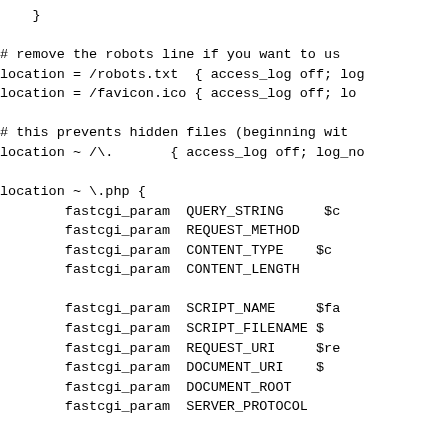}

# remove the robots line if you want to us
location = /robots.txt  { access_log off; log
location = /favicon.ico { access_log off; lo

# this prevents hidden files (beginning wit
location ~ /\.       { access_log off; log_no

location ~ \.php {
        fastcgi_param  QUERY_STRING     $c
        fastcgi_param  REQUEST_METHOD
        fastcgi_param  CONTENT_TYPE    $c
        fastcgi_param  CONTENT_LENGTH

        fastcgi_param  SCRIPT_NAME     $fa
        fastcgi_param  SCRIPT_FILENAME $
        fastcgi_param  REQUEST_URI     $re
        fastcgi_param  DOCUMENT_URI    $
        fastcgi_param  DOCUMENT_ROOT
        fastcgi_param  SERVER_PROTOCOL